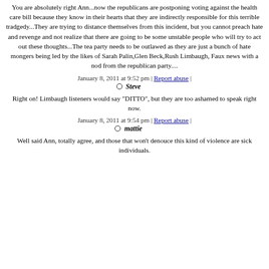You are absolutely right Ann...now the republicans are postponing voting against the health care bill because they know in their hearts that they are indirectly responsible for this terrible tradgedy...They are trying to distance themselves from this incident, but you cannot preach hate and revenge and not realize that there are going to be some unstable people who will try to act out these thoughts...The tea party needs to be outlawed as they are just a bunch of hate mongers being led by the likes of Sarah Palin,Glen Beck,Rush Limbaugh, Faux news with a nod from the republican party....
January 8, 2011 at 9:52 pm | Report abuse | Steve
Right on! Limbaugh listeners would say "DITTO", but they are too ashamed to speak right now.
January 8, 2011 at 9:54 pm | Report abuse | mattie
Well said Ann, totally agree, and those that won't denouce this kind of violence are sick individuals.